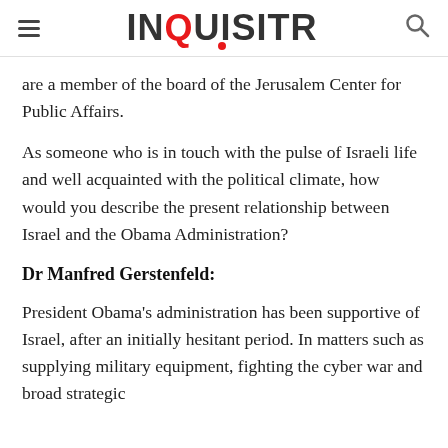INQUISITR
are a member of the board of the Jerusalem Center for Public Affairs.
As someone who is in touch with the pulse of Israeli life and well acquainted with the political climate, how would you describe the present relationship between Israel and the Obama Administration?
Dr Manfred Gerstenfeld:
President Obama's administration has been supportive of Israel, after an initially hesitant period. In matters such as supplying military equipment, fighting the cyber war and broad strategic